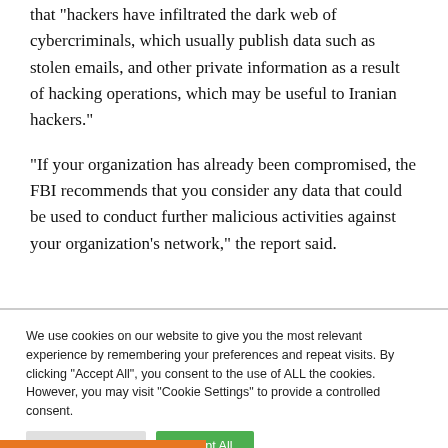In a warning report sent to American companies, the FBI said that “hackers have infiltrated the dark web of cybercriminals, which usually publish data such as stolen emails, and other private information as a result of hacking operations, which may be useful to Iranian hackers.”
“If your organization has already been compromised, the FBI recommends that you consider any data that could be used to conduct further malicious activities against your organization’s network,” the report said.
We use cookies on our website to give you the most relevant experience by remembering your preferences and repeat visits. By clicking “Accept All”, you consent to the use of ALL the cookies. However, you may visit "Cookie Settings" to provide a controlled consent.